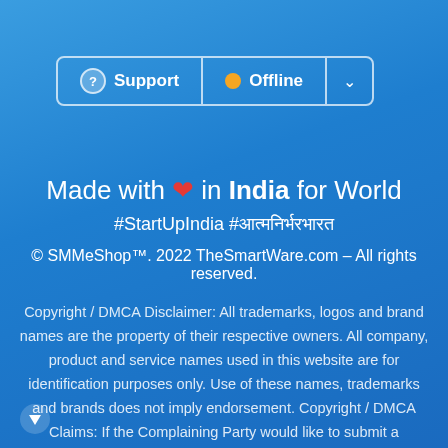[Figure (screenshot): Support and Offline status bar with rounded border. Contains: question mark icon labeled 'Support', orange dot labeled 'Offline', and a dropdown chevron.]
Made with ❤ in India for World
#StartUpIndia #आत्मनिर्भरभारत
© SMMeShop™. 2022 TheSmartWare.com – All rights reserved.
Copyright / DMCA Disclaimer: All trademarks, logos and brand names are the property of their respective owners. All company, product and service names used in this website are for identification purposes only. Use of these names, trademarks and brands does not imply endorsement. Copyright / DMCA Claims: If the Complaining Party would like to submit a copyright claim for material on which you hold a bona fide copyright, SMMeShop™ requests that the Complaining Party